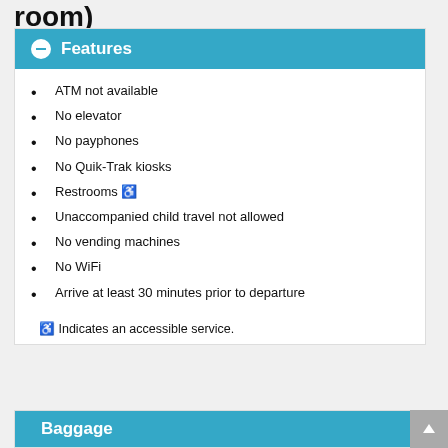room)
Features
ATM not available
No elevator
No payphones
No Quik-Trak kiosks
Restrooms ♿
Unaccompanied child travel not allowed
No vending machines
No WiFi
Arrive at least 30 minutes prior to departure
♿ Indicates an accessible service.
Baggage